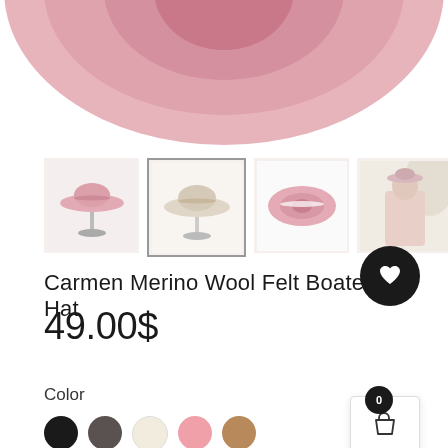[Figure (photo): Main product image: large pink wool boater hat, top view, showing the brim and crown, cropped at top]
[Figure (photo): Thumbnail 1: pink boater hat on a stand, side view]
[Figure (photo): Thumbnail 2: neutral/white boater hat on a stand, front-side view]
[Figure (photo): Thumbnail 3: pink boater hat, top-down view with white ribbon]
[Figure (photo): Thumbnail 4: woman wearing a pink boater hat and pink outfit, lifestyle shot]
Carmen Merino Wool Felt Boater Hat
49.00$
Color
[Figure (other): Color swatches: black, dark grey, cream/beige, light pink, tan/camel]